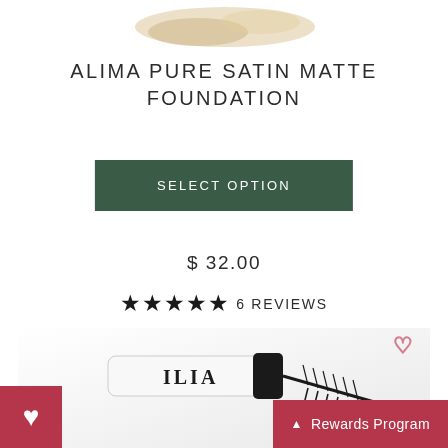[Figure (photo): Powder product swatch/smear at top of page, beige/tan color]
ALIMA PURE SATIN MATTE FOUNDATION
SELECT OPTION
$ 32.00
★★★★★ 6 REVIEWS
[Figure (photo): ILIA mascara product photo showing white tube with black cap and mascara wand with bristles, on white background, with heart/wishlist icon in top right corner]